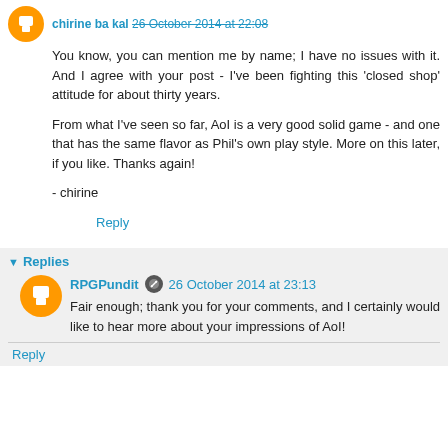chirine ba kal 26 October 2014 at 22:08
You know, you can mention me by name; I have no issues with it. And I agree with your post - I've been fighting this 'closed shop' attitude for about thirty years.

From what I've seen so far, AoI is a very good solid game - and one that has the same flavor as Phil's own play style. More on this later, if you like. Thanks again!

- chirine
Reply
Replies
RPGPundit 26 October 2014 at 23:13
Fair enough; thank you for your comments, and I certainly would like to hear more about your impressions of AoI!
Reply